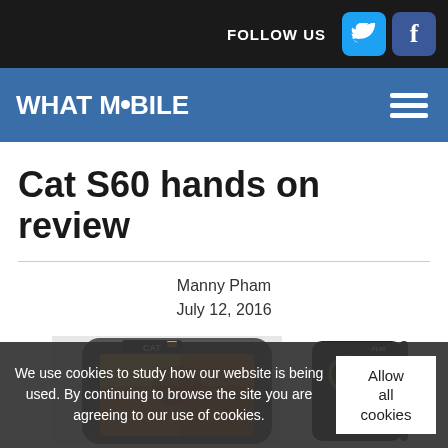FOLLOW US
[Figure (logo): WHAT MOBILE logo with hamburger menu on blue navigation bar]
Cat S60 hands on review
Manny Pham
July 12, 2016
[Figure (photo): Two Cat S60 phones shown side by side - left showing thermal camera view, right showing rear camera setup]
We use cookies to study how our website is being used. By continuing to browse the site you are agreeing to our use of cookies.